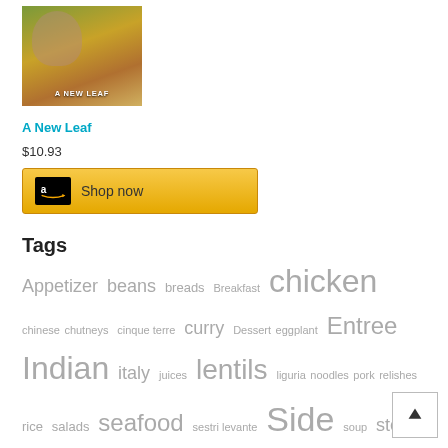[Figure (photo): Product image for 'A New Leaf' showing a woman with food market background and title text overlay]
A New Leaf
$10.93
[Figure (other): Amazon 'Shop now' button with Amazon logo]
Tags
Appetizer beans breads Breakfast chicken chinese chutneys cinque terre curry Dessert eggplant Entree Indian italy juices lentils liguria noodles pork relishes rice salads seafood sestri levante Side soup stew tartufo truffles tuscany umbria vegan vegetables vegetarian wildflowers